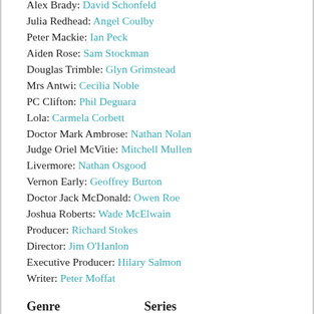Alex Brady: David Schonfeld
Julia Redhead: Angel Coulby
Peter Mackie: Ian Peck
Aiden Rose: Sam Stockman
Douglas Trimble: Glyn Grimstead
Mrs Antwi: Cecilia Noble
PC Clifton: Phil Deguara
Lola: Carmela Corbett
Doctor Mark Ambrose: Nathan Nolan
Judge Oriel McVitie: Mitchell Mullen
Livermore: Nathan Osgood
Vernon Early: Geoffrey Burton
Doctor Jack McDonald: Owen Roe
Joshua Roberts: Wade McElwain
Producer: Richard Stokes
Director: Jim O'Hanlon
Executive Producer: Hilary Salmon
Writer: Peter Moffat
Genre
Series